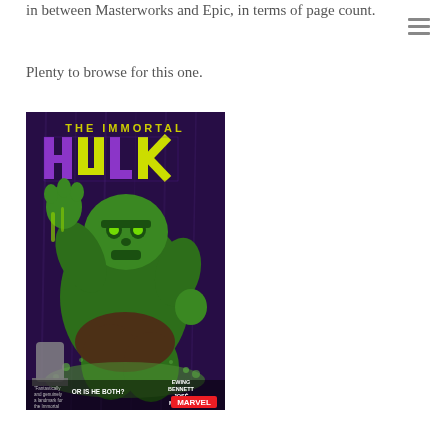in between Masterworks and Epic, in terms of page count.
Plenty to browse for this one.
[Figure (photo): Book cover of 'The Immortal Hulk' - shows the Hulk rising up green and menacing against a purple background, with text 'OR IS HE BOTH?' and Marvel logo at bottom. Credits include Ewing, Bennett, José, Mounts.]